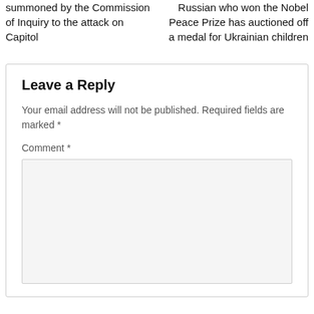summoned by the Commission of Inquiry to the attack on Capitol
Russian who won the Nobel Peace Prize has auctioned off a medal for Ukrainian children
Leave a Reply
Your email address will not be published. Required fields are marked *
Comment *